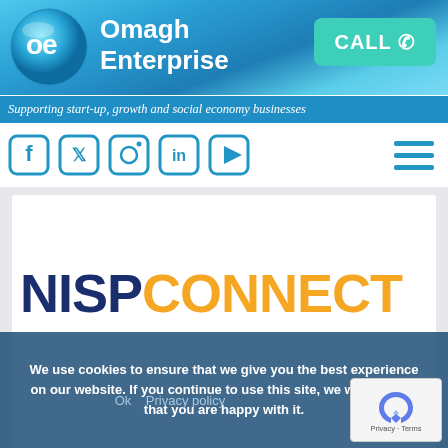[Figure (logo): Omagh Enterprise logo with circular 'oe' icon and company name in white text on blue gradient background, with tagline 'Supporting start-up, growth and social economy businesses']
[Figure (screenshot): Navigation bar with social media icons (Facebook, Twitter, Instagram, LinkedIn, YouTube) in blue, and hamburger menu icon on the right]
[Figure (logo): NISPCONNECT logo with 'NISP' in dark navy blue and 'CONNECT' in orange, displayed on a light grey background]
We use cookies to ensure that we give you the best experience on our website. If you continue to use this site, we will assume that you are happy with it.
Ok   Privacy policy